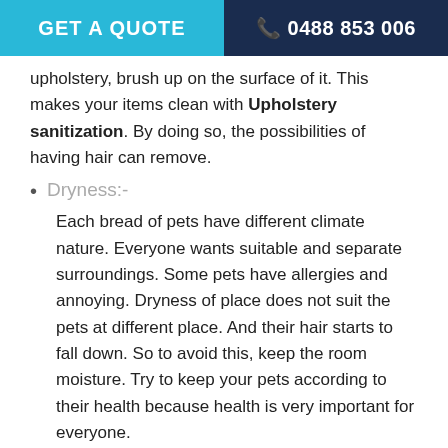GET A QUOTE | 0488 853 006
upholstery, brush up on the surface of it. This makes your items clean with Upholstery sanitization. By doing so, the possibilities of having hair can remove.
Dryness:-
Each bread of pets have different climate nature. Everyone wants suitable and separate surroundings. Some pets have allergies and annoying. Dryness of place does not suit the pets at different place. And their hair starts to fall down. So to avoid this, keep the room moisture. Try to keep your pets according to their health because health is very important for everyone.
Groom the Pets:-